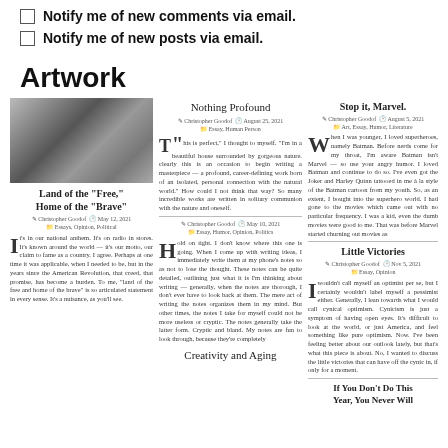Notify me of new comments via email.
Notify me of new posts via email.
Artwork
[Figure (photo): Collage of images including a book cover 'score for nowhere' by Christopher Goodof and dark moody photographs of guitars and a person]
Land of the “Free,” Home of the “Brave”
Christopher Goodof · May 12, 2021 · Essays, Opinion, Political
It's in our national anthem. It's on radio in stores. It's known around the world — it's our motto, our claim to fame as a country. I agree. Perhaps at one time it was applicable, when I needed to be, but in the years since the American Revolution, that creed, that promise, has become a burden. To me, "land of the free and home of the brave" is so articulated statement in every sense. It's a nuisance, as you'll see.
Nothing Profound
Christopher Goodof · August 25, 2021 · Essay, Human Person
"This is perfect," I thought to myself. "I'm in a beautiful house surrounded by gorgeous nature. clearly this is an occasion to begin writing a masterpiece — a profound, career-defining work born of an isolated, personal connection with the natural world." How could I not think that way? So many incredible works are written in solitary communion with the nature and oneself.
Christopher Goodof · May 10, 2021 · Essay, Humor, Opinion, Politics
Hold on tight. I don't know where this one is going. When I come up with writing ideas, I immediately write them at my phone's notes so as not to lose the thought. These notes can be quite detailed, outlining just what it is I'm thinking about writing — generally, when the notes are thorough, I don't ever have to look back at them. The mere act of writing the notes organizes them in my mind. But other times, the notes I take for myself could not be more useless or cryptic. The notes generally take the latter form. Cryptic and bland. My notes are fun to look through, because they're completely
Creativity and Aging
Stop it, Marvel.
Christopher Goodof · August 5, 2021 · Art, Essay, Humor, Literature
When I was younger, I loved superheroes, namely Batman. Before nerds come for my throat, I'm aware Batman isn't Marvel — so use your angry humor. I loved Batman and continue to do so. I've even got the Joker and Harley Quinn tattooed in me à la style of the Batman cartoon from my youth. So, as an extent, I bought into the superhero world. I had gone to the movies which came out with no particular frequency. I was a kid, even the dumb movies were good to me. That was before Marvel started churning out movies as
Little Victories
Christopher Goodof · Nov 5, 2021 · Essay, Opinion
I wouldn't call myself an optimist per se, but I certainly wouldn't label myself a pessimist either. Generally, I lean towards what I would call cynical optimism. Cynicism is just a symptom of having open eyes. It's difficult to look at the world, or just America, and feel something like pure optimism. Now. I've been feeling better about our outlook lately, but that's what this piece is about. No, I wanted to discuss the little victories that can have off the cynic in, if only for a moment.
If You Don't Do This This Year, You Never Will